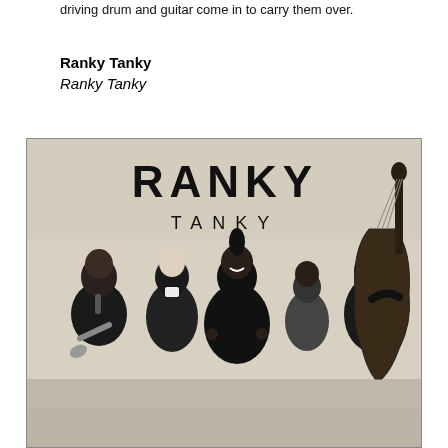driving drum and guitar come in to carry them over.
Ranky Tanky
Ranky Tanky
[Figure (photo): Black and white promotional photo of the band Ranky Tanky. Five musicians posed against a light background with 'RANKY TANKY' text logo above them. From left: a man holding a trumpet, a man in a suit, a woman in the center smiling with hands on hips, a woman in the background, and a man on the far right holding a large upright bass.]